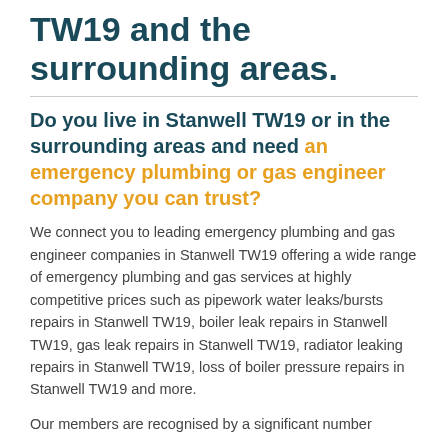TW19 and the surrounding areas.
Do you live in Stanwell TW19 or in the surrounding areas and need an emergency plumbing or gas engineer company you can trust?
We connect you to leading emergency plumbing and gas engineer companies in Stanwell TW19 offering a wide range of emergency plumbing and gas services at highly competitive prices such as pipework water leaks/bursts repairs in Stanwell TW19, boiler leak repairs in Stanwell TW19, gas leak repairs in Stanwell TW19, radiator leaking repairs in Stanwell TW19, loss of boiler pressure repairs in Stanwell TW19 and more.
Our members are recognised by a significant number